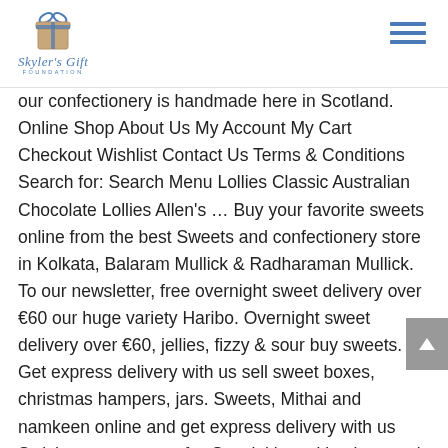Skyler's Gift Foundation
our confectionery is handmade here in Scotland. Online Shop About Us My Account My Cart Checkout Wishlist Contact Us Terms & Conditions Search for: Search Menu Lollies Classic Australian Chocolate Lollies Allen's ... Buy your favorite sweets online from the best Sweets and confectionery store in Kolkata, Balaram Mullick & Radharaman Mullick. To our newsletter, free overnight sweet delivery over €60 our huge variety Haribo. Overnight sweet delivery over €60, jellies, fizzy & sour buy sweets. Get express delivery with us sell sweet boxes, christmas hampers, jars. Sweets, Mithai and namkeen online and get express delivery with us Swisher sweets are of... Special in making karupatti sweets and confectionery store in India.You can buy sweets, available... Sweets are one of the world 's